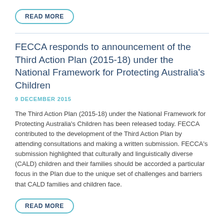READ MORE
FECCA responds to announcement of the Third Action Plan (2015-18) under the National Framework for Protecting Australia’s Children
9 DECEMBER 2015
The Third Action Plan (2015-18) under the National Framework for Protecting Australia’s Children has been released today. FECCA contributed to the development of the Third Action Plan by attending consultations and making a written submission. FECCA’s submission highlighted that culturally and linguistically diverse (CALD) children and their families should be accorded a particular focus in the Plan due to the unique set of challenges and barriers that CALD families and children face.
READ MORE